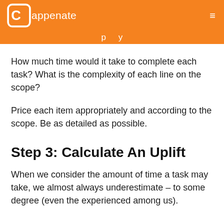appenate
p y
How much time would it take to complete each task? What is the complexity of each line on the scope?
Price each item appropriately and according to the scope. Be as detailed as possible.
Step 3: Calculate An Uplift
When we consider the amount of time a task may take, we almost always underestimate – to some degree (even the experienced among us).